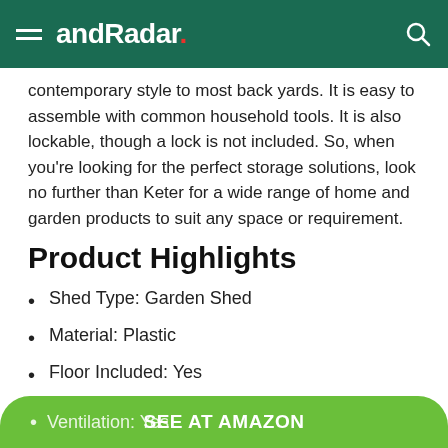andRadar.
contemporary style to most back yards. It is easy to assemble with common household tools. It is also lockable, though a lock is not included. So, when you're looking for the perfect storage solutions, look no further than Keter for a wide range of home and garden products to suit any space or requirement.
Product Highlights
Shed Type: Garden Shed
Material: Plastic
Floor Included: Yes
Foundation Required: No
Ventilation: Yes